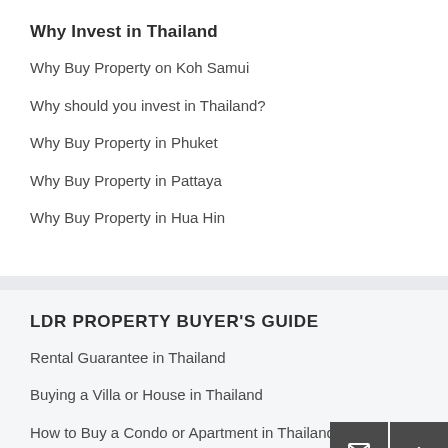Why Invest in Thailand
Why Buy Property on Koh Samui
Why should you invest in Thailand?
Why Buy Property in Phuket
Why Buy Property in Pattaya
Why Buy Property in Hua Hin
LDR PROPERTY BUYER'S GUIDE
Rental Guarantee in Thailand
Buying a Villa or House in Thailand
How to Buy a Condo or Apartment in Thailand